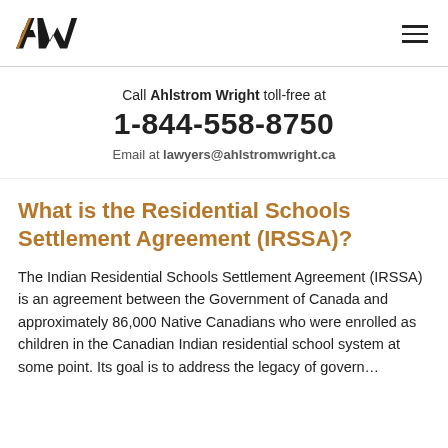AW | navigation menu
Call Ahlstrom Wright toll-free at
1-844-558-8750
Email at lawyers@ahlstromwright.ca
What is the Residential Schools Settlement Agreement (IRSSA)?
The Indian Residential Schools Settlement Agreement (IRSSA) is an agreement between the Government of Canada and approximately 86,000 Native Canadians who were enrolled as children in the Canadian Indian residential school system at some point. Its goal is to address the legacy of government…